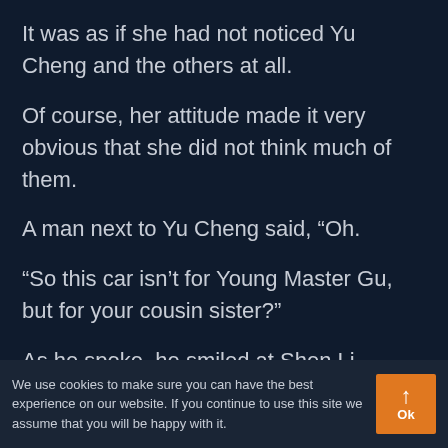It was as if she had not noticed Yu Cheng and the others at all.
Of course, her attitude made it very obvious that she did not think much of them.
A man next to Yu Cheng said, “Oh.
“So this car isn’t for Young Master Gu, but for your cousin sister?”
As he spoke, he smiled at Shen Li.
We use cookies to make sure you can have the best experience on our website. If you continue to use this site we assume that you will be happy with it.